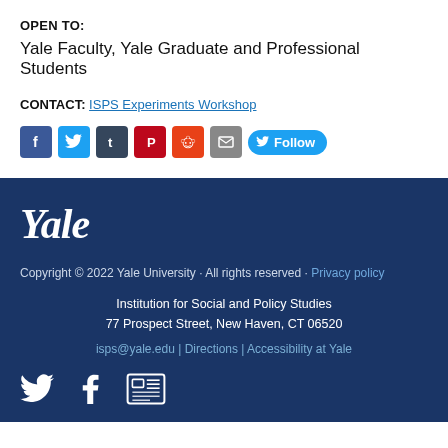OPEN TO:
Yale Faculty, Yale Graduate and Professional Students
CONTACT: ISPS Experiments Workshop
[Figure (other): Social media sharing icons: Facebook, Twitter, Tumblr, Pinterest, Reddit, Email, and a Twitter Follow button]
Yale
Copyright © 2022 Yale University · All rights reserved · Privacy policy
Institution for Social and Policy Studies
77 Prospect Street, New Haven, CT 06520
isps@yale.edu | Directions | Accessibility at Yale